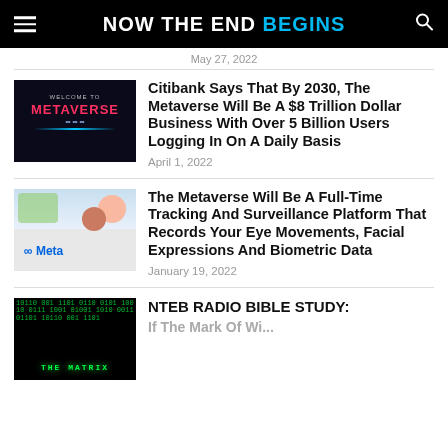NOW THE END BEGINS
May 27, 2022
[Figure (photo): Dark background with 'WELCOME TO METAVERSE' text in red and blue lighting]
Citibank Says That By 2030, The Metaverse Will Be A $8 Trillion Dollar Business With Over 5 Billion Users Logging In On A Daily Basis
April 1, 2022
[Figure (photo): Meta logo with people in background on light blue/green background]
The Metaverse Will Be A Full-Time Tracking And Surveillance Platform That Records Your Eye Movements, Facial Expressions And Biometric Data
January 19, 2022
[Figure (photo): The Matrix movie green digital rain background with THE MATRIX text]
NTEB RADIO BIBLE STUDY: